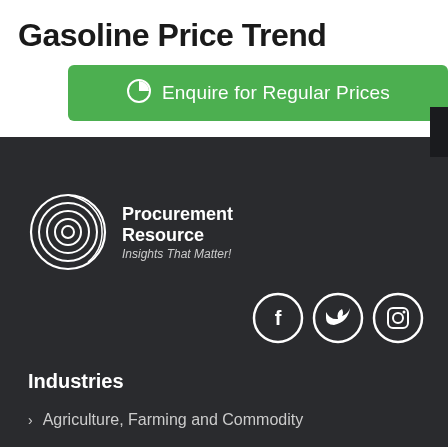Gasoline Price Trend
Enquire for Regular Prices
[Figure (logo): Procurement Resource logo with circular swirl icon and tagline 'Insights That Matter!']
[Figure (infographic): Social media icons: Facebook, Twitter, Instagram in white circles on dark background]
Industries
Agriculture, Farming and Commodity